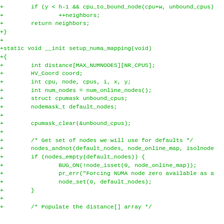[Figure (other): Source code diff showing C code additions for NUMA mapping setup, displayed as a green-on-white code block with '+' diff markers]